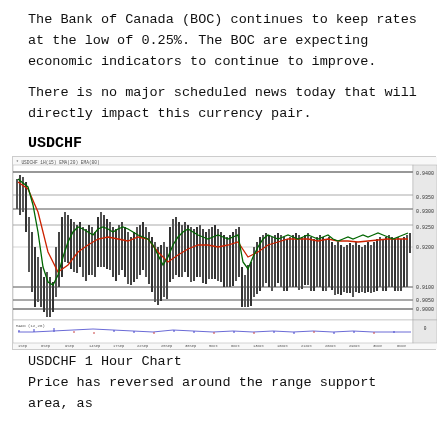The Bank of Canada (BOC) continues to keep rates at the low of 0.25%. The BOC are expecting economic indicators to continue to improve.
There is no major scheduled news today that will directly impact this currency pair.
USDCHF
[Figure (continuous-plot): USDCHF 1 Hour Chart showing candlestick price action with red and green moving average lines, horizontal support and resistance lines, and a volume/oscillator panel at the bottom. Price ranges from approximately 0.9000 to 0.9400 over an extended time period.]
USDCHF 1 Hour Chart
Price has reversed around the range support area, as